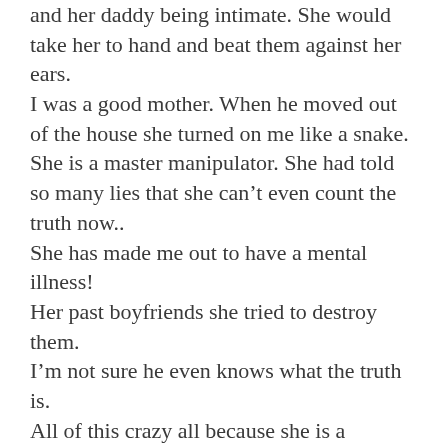and her daddy being intimate. She would take her to hand and beat them against her ears. I was a good mother. When he moved out of the house she turned on me like a snake. She is a master manipulator. She had told so many lies that she can't even count the truth now.. She has made me out to have a mental illness! Her past boyfriends she tried to destroy them. I'm not sure he even knows what the truth is. All of this crazy all because she is a daddy's girl.